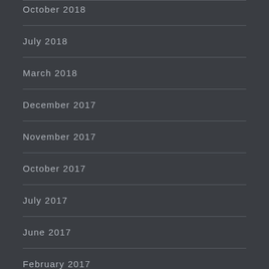October 2018
July 2018
March 2018
December 2017
November 2017
October 2017
July 2017
June 2017
February 2017
November 2016
October 2016
September 2016